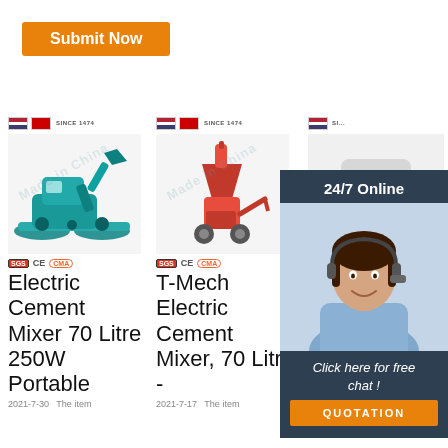[Figure (other): Submit Now button - orange rounded rectangle]
[Figure (photo): Teal mini excavator product image with brand logo and certification badges]
Electric Cement Mixer 70 Litre 250W Portable
2021-7-30  The item
[Figure (photo): Red electric cement mixer/mortar spraying machine product image with brand logo and certification badges]
T-Mech Electric Cement Mixer, 70 Litre -
2021-7-17  The item
[Figure (photo): Third product - partially visible, overlaid by 24/7 Online chat widget]
T- El... Cement Mixer 70 Litre On OnBUY
[Figure (infographic): 24/7 Online chat support widget with agent photo, 'Click here for free chat!' text, and QUOTATION button]